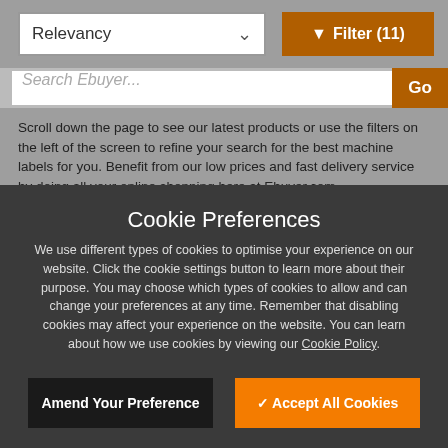[Figure (screenshot): Relevancy dropdown selector with chevron icon]
[Figure (screenshot): Filter button with funnel icon showing Filter (11)]
[Figure (screenshot): Search Ebuyer... input field with Go button]
Scroll down the page to see our latest products or use the filters on the left of the screen to refine your search for the best machine labels for you. Benefit from our low prices and fast delivery service by doing all your online shopping here at Ebuyer.com.
Cookie Preferences
We use different types of cookies to optimise your experience on our website. Click the cookie settings button to learn more about their purpose. You may choose which types of cookies to allow and can change your preferences at any time. Remember that disabling cookies may affect your experience on the website. You can learn about how we use cookies by viewing our Cookie Policy.
Amend Your Preference
✓ Accept All Cookies